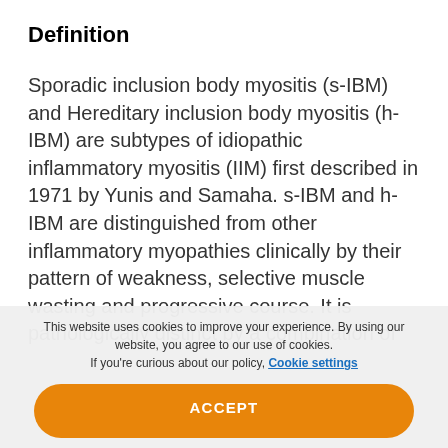Definition
Sporadic inclusion body myositis (s-IBM) and Hereditary inclusion body myositis (h-IBM) are subtypes of idiopathic inflammatory myositis (IIM) first described in 1971 by Yunis and Samaha. s-IBM and h-IBM are distinguished from other inflammatory myopathies clinically by their pattern of weakness, selective muscle wasting and progressive course. It is pathologically distinct by a combination of
This website uses cookies to improve your experience. By using our website, you agree to our use of cookies. If you're curious about our policy, Cookie settings
ACCEPT